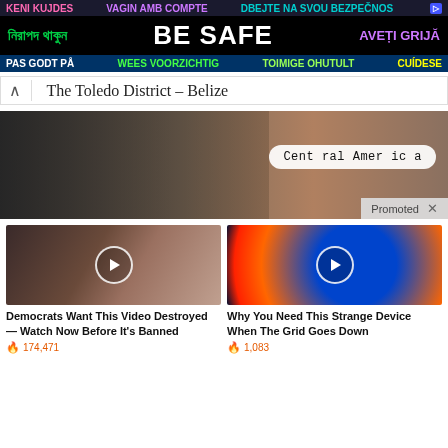[Figure (screenshot): Multilingual 'BE SAFE' advertisement banner with text in multiple languages on dark backgrounds]
The Toledo District – Belize
[Figure (photo): City street scene with Central America badge and Promoted label]
[Figure (photo): Video thumbnail showing two people, with play button overlay]
Democrats Want This Video Destroyed — Watch Now Before It's Banned
174,471
[Figure (photo): Video thumbnail showing colorful energy/space imagery with play button overlay]
Why You Need This Strange Device When The Grid Goes Down
1,083